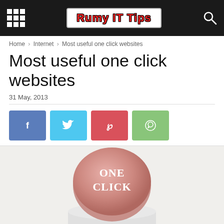Rumy IT Tips
Home › Internet › Most useful one click websites
Most useful one click websites
31 May, 2013
[Figure (other): Social share buttons: Facebook (blue), Twitter (light blue), Pinterest (red), WhatsApp (green)]
[Figure (photo): A round button with pink/rose top reading ONE CLICK in white serif text, sitting on a white cylindrical base, on a light grey background]